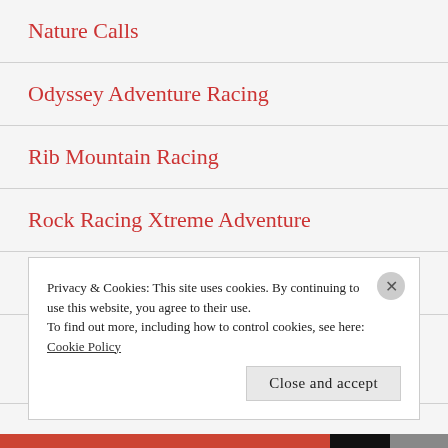Nature Calls
Odyssey Adventure Racing
Rib Mountain Racing
Rock Racing Xtreme Adventure
Running on Empty
Summit Adventure Racing/Team Commie Bar
Privacy & Cookies: This site uses cookies. By continuing to use this website, you agree to their use.
To find out more, including how to control cookies, see here: Cookie Policy
Close and accept